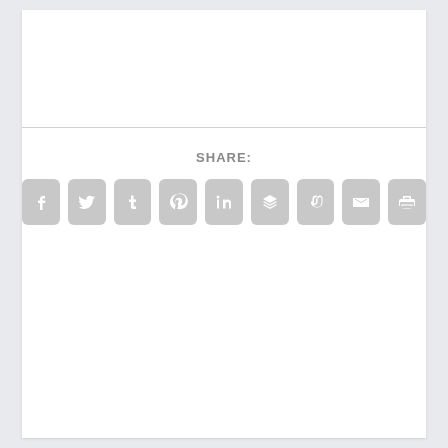SHARE:
[Figure (infographic): Row of 9 social sharing icon buttons (Facebook, Twitter, Tumblr, Pinterest, LinkedIn, Buffer/layers, StumbleUpon, Email, Print) rendered as grey rounded squares with white icons]